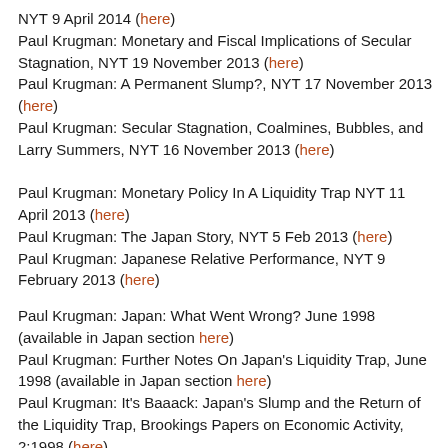NYT 9 April 2014 (here)
Paul Krugman: Monetary and Fiscal Implications of Secular Stagnation, NYT 19 November 2013 (here)
Paul Krugman: A Permanent Slump?, NYT 17 November 2013 (here)
Paul Krugman: Secular Stagnation, Coalmines, Bubbles, and Larry Summers, NYT 16 November 2013 (here)
Paul Krugman: Monetary Policy In A Liquidity Trap NYT 11 April 2013 (here)
Paul Krugman: The Japan Story, NYT 5 Feb 2013 (here)
Paul Krugman: Japanese Relative Performance, NYT 9 February 2013 (here)
Paul Krugman: Japan: What Went Wrong? June 1998 (available in Japan section here)
Paul Krugman: Further Notes On Japan's Liquidity Trap, June 1998 (available in Japan section here)
Paul Krugman: It's Baaack: Japan's Slump and the Return of the Liquidity Trap, Brookings Papers on Economic Activity, 2:1998 (here)